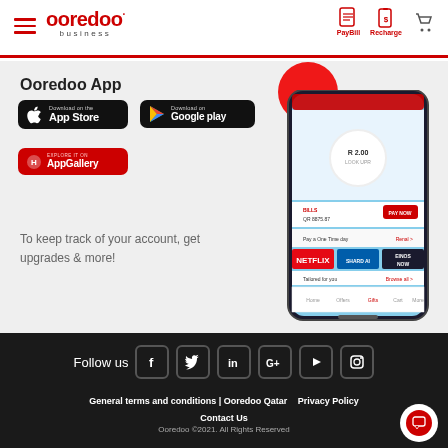Ooredoo Business — PayBill | Recharge
Ooredoo App
[Figure (screenshot): App store download buttons: App Store, Google Play, AppGallery, and phone mockup showing Ooredoo app interface]
To keep track of your account, get upgrades & more!
Follow us — Facebook, Twitter, LinkedIn, Google+, YouTube, Instagram
General terms and conditions | Ooredoo Qatar   Privacy Policy
Contact Us
Ooredoo ©2021. All Rights Reserved